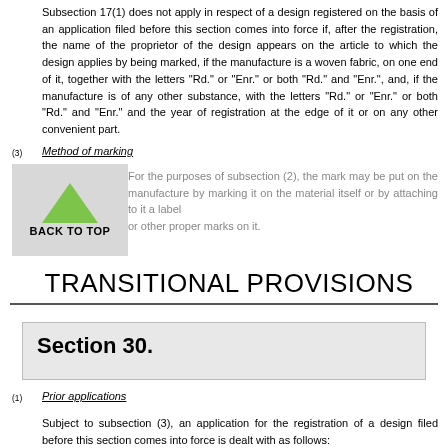Subsection 17(1) does not apply in respect of a design registered on the basis of an application filed before this section comes into force if, after the registration, the name of the proprietor of the design appears on the article to which the design applies by being marked, if the manufacture is a woven fabric, on one end of it, together with the letters "Rd." or "Enr." or both "Rd." and "Enr.", and, if the manufacture is of any other substance, with the letters "Rd." or "Enr." or both "Rd." and "Enr." and the year of registration at the edge of it or on any other convenient part.
(3)
Method of marking
[Figure (illustration): Back to top button with green upward-pointing arrow on grey background]
For the purposes of subsection (2), the mark may be put on the manufacture by marking it on the material itself or by attaching to it a label or other proper marks on it.
TRANSITIONAL PROVISIONS
Section 30.
(1)
Prior applications
Subject to subsection (3), an application for the registration of a design filed before this section comes into force is dealt with as follows: